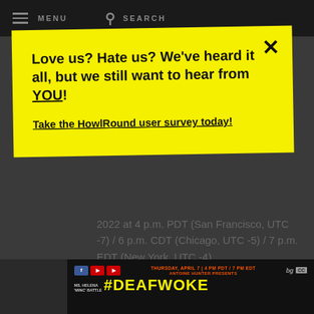MENU   SEARCH
Love us? Hate us? We've heard it all, but we still want to hear from YOU!

Take the HowlRound user survey today!
2022 at 4 p.m. PDT (San Francisco, UTC -7) / 6 p.m. CDT (Chicago, UTC -5) / 7 p.m. EDT (New York, UTC -4).
[Figure (screenshot): Bottom banner image for #DEAFWOKE event. Thursday, April 7 | 4 PM PDT / 7 PM EDT. Antoine Hunter Presents. Ms. Helena 'Minc' Battle. Social media icons (Facebook, YouTube). CC and logo badges.]